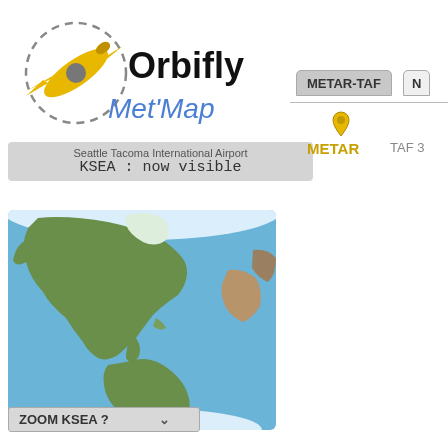[Figure (logo): Orbifly Met'Map logo with yellow airplane icon and dashed circle, text 'Orbifly' in bold black and 'Met'Map' in blue italic]
Seattle Tacoma International Airport
KSEA : now visible
METAR-TAF
[Figure (other): Yellow teardrop/pin icon above METAR label]
METAR
TAF 3
[Figure (map): Satellite view world map showing the Americas - North America, Central America, South America, with blue ocean background and white polar regions]
ZOOM KSEA ?